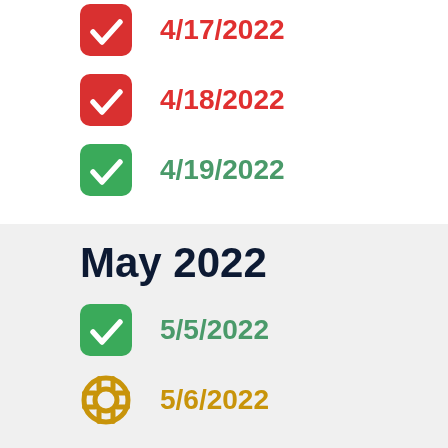4/17/2022
4/18/2022
4/19/2022
May 2022
5/5/2022
5/6/2022
5/7/2022
5/8/2022
5/9/2022
5/5/2022